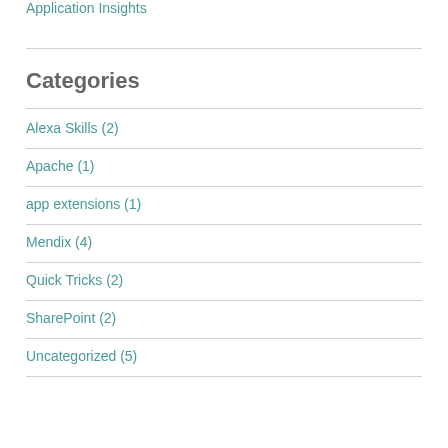Application Insights
Categories
Alexa Skills (2)
Apache (1)
app extensions (1)
Mendix (4)
Quick Tricks (2)
SharePoint (2)
Uncategorized (5)